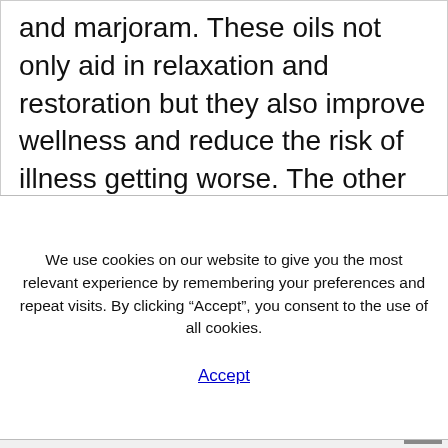and marjoram. These oils not only aid in relaxation and restoration but they also improve wellness and reduce the risk of illness getting worse. The other oils used in lomilomi are ginger, rosemary, thyme, lavender and grapefruit. They also include peppermint, grapefruit and pine. Homepage:
We use cookies on our website to give you the most relevant experience by remembering your preferences and repeat visits. By clicking “Accept”, you consent to the use of all cookies.
Accept